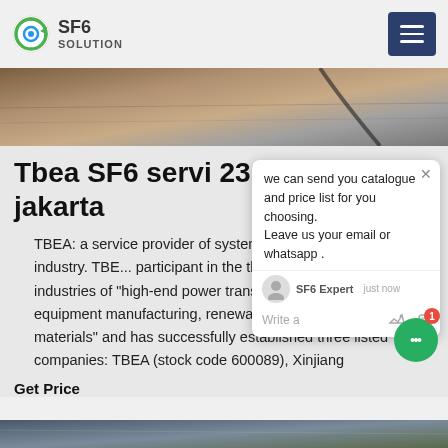SF6 SOLUTION
[Figure (photo): Close-up photo of industrial surface, brown/grey tones]
Tbea SF6 servi 231 d... jakarta
TBEA: a service provider of systema... for global energy industry. TBEA... participant in the three national stra... industries of "high-end power transmision and transformation equipment manufacturing, renewable energy and new materials" and has successfully established three listed companies: TBEA (stock code 600089), Xinjiang
Get Price
[Figure (photo): Bottom strip photo of outdoor industrial/landscape scene]
[Figure (screenshot): Chat popup overlay: 'we can send you catalogue and price list for you choosing. Leave us your email or whatsapp .' with SF6 Expert agent, just now, write message area]